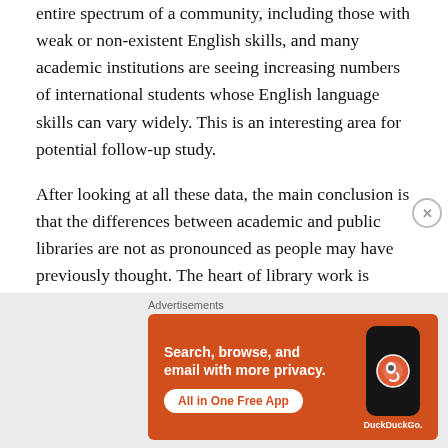entire spectrum of a community, including those with weak or non-existent English skills, and many academic institutions are seeing increasing numbers of international students whose English language skills can vary widely. This is an interesting area for potential follow-up study.
After looking at all these data, the main conclusion is that the differences between academic and public libraries are not as pronounced as people may have previously thought. The heart of library work is always going to be customer service, and that is emphasized in these soft skills such as communication, listening, and flexibility
[Figure (screenshot): Advertisement banner for DuckDuckGo app: orange background with text 'Search, browse, and email with more privacy. All in One Free App' and an image of a smartphone with DuckDuckGo logo]